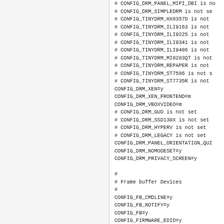# CONFIG_DRM_PANEL_MIPI_DBI is not set
# CONFIG_DRM_SIMPLEDRM is not set
# CONFIG_TINYDRM_HX8357D is not set
# CONFIG_TINYDRM_ILI9163 is not set
# CONFIG_TINYDRM_ILI9225 is not set
# CONFIG_TINYDRM_ILI9341 is not set
# CONFIG_TINYDRM_ILI9486 is not set
# CONFIG_TINYDRM_MI0283QT is not set
# CONFIG_TINYDRM_REPAPER is not set
# CONFIG_TINYDRM_ST7586 is not set
# CONFIG_TINYDRM_ST7735R is not set
CONFIG_DRM_XEN=y
CONFIG_DRM_XEN_FRONTEND=m
CONFIG_DRM_VBOXVIDEO=m
# CONFIG_DRM_GUD is not set
# CONFIG_DRM_SSD130X is not set
# CONFIG_DRM_HYPERV is not set
# CONFIG_DRM_LEGACY is not set
CONFIG_DRM_PANEL_ORIENTATION_QUIRKS=y
CONFIG_DRM_NOMODESET=y
CONFIG_DRM_PRIVACY_SCREEN=y

#
# Frame buffer Devices
#
CONFIG_FB_CMDLINE=y
CONFIG_FB_NOTIFY=y
CONFIG_FB=y
CONFIG_FIRMWARE_EDID=y
CONFIG_FB_DDC=m
CONFIG_FB_CFB_FILLRECT=y
CONFIG_FB_CFB_COPYAREA=y
CONFIG_FB_CFB_IMAGEBLIT=y